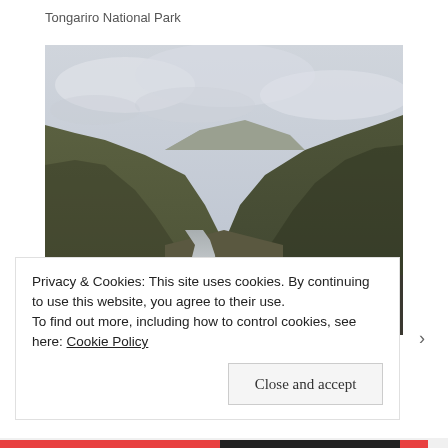Tongariro National Park
[Figure (photo): A rocky mountain stream flowing through a wide valley with green-brown tussock grass hills on both sides and overcast sky above, taken in Tongariro National Park, New Zealand.]
Privacy & Cookies: This site uses cookies. By continuing to use this website, you agree to their use.
To find out more, including how to control cookies, see here: Cookie Policy
Close and accept